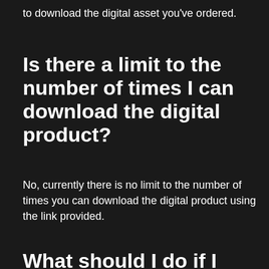to download the digital asset you've ordered.
Is there a limit to the number of times I can download the digital product?
No, currently there is no limit to the number of times you can download the digital product using the link provided.
What should I do if I didn't r...